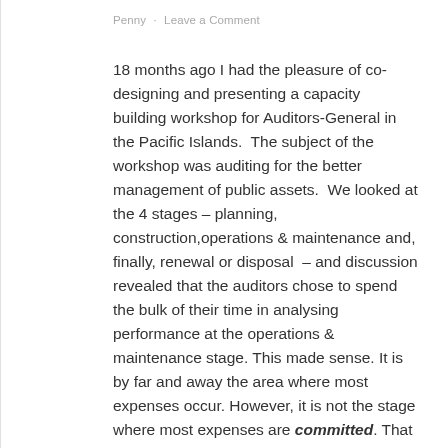Penny · Leave a Comment
18 months ago I had the pleasure of co-designing and presenting a capacity building workshop for Auditors-General in the Pacific Islands.  The subject of the workshop was auditing for the better management of public assets.  We looked at the 4 stages – planning, construction,operations & maintenance and, finally, renewal or disposal  – and discussion revealed that the auditors chose to spend the bulk of their time in analysing performance at the operations & maintenance stage. This made sense. It is by far and away the area where most expenses occur. However, it is not the stage where most expenses are committed. That